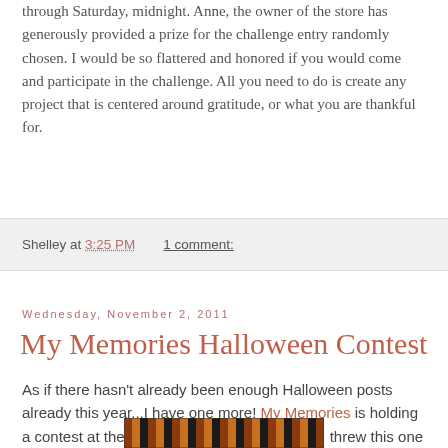through Saturday, midnight.  Anne, the owner of the store has generously provided a prize for the challenge entry randomly chosen.  I would be so flattered and honored if you would come and participate in the challenge.  All you need to do is create any project that is centered around gratitude, or what you are thankful for.
Shelley at 3:25 PM    1 comment:
Wednesday, November 2, 2011
My Memories Halloween Contest
As if there hasn't already been enough Halloween posts already this year...I have one more!  My Memories is holding a contest at their blog for Halloween layouts.  I threw this one together this evening.  I was going with the free elements I already had and still have not opted to buy anything yet.  (especially not Halloween ones) but am sure my days are numbered because there are so many fun options over there.  Anyway, here is mine to share.
[Figure (photo): Partial view of a Halloween-themed decorative image with a zigzag/arrow pattern in orange, black, and brown colors at the bottom of the page]